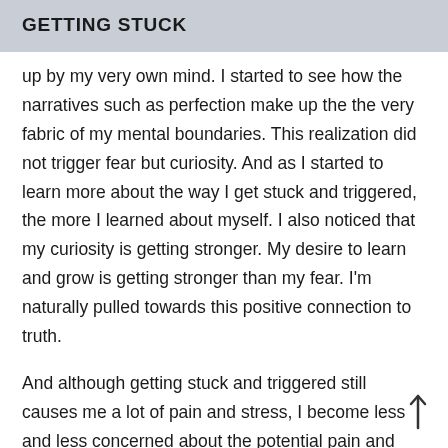GETTING STUCK
up by my very own mind. I started to see how the narratives such as perfection make up the the very fabric of my mental boundaries. This realization did not trigger fear but curiosity. And as I started to learn more about the way I get stuck and triggered, the more I learned about myself. I also noticed that my curiosity is getting stronger. My desire to learn and grow is getting stronger than my fear. I'm naturally pulled towards this positive connection to truth.
And although getting stuck and triggered still causes me a lot of pain and stress, I become less and less concerned about the potential pain and fear that might result from being stuck and triggered because at the end even this experience is an opportunity for